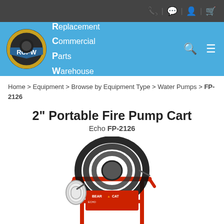RCPW - Replacement Commercial Parts Warehouse
Home > Equipment > Browse by Equipment Type > Water Pumps > FP-2126
2" Portable Fire Pump Cart
Echo FP-2126
[Figure (photo): Echo Bear Cat 2-inch portable fire pump cart on a red metal frame with black hose coiled around it and a white intake filter attachment]